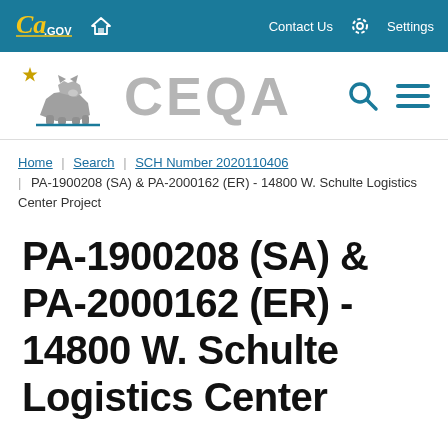CA.GOV | Home | Contact Us | Settings
[Figure (logo): CEQA California state website logo with bear icon, search and menu icons]
Home | Search | SCH Number 2020110406 | PA-1900208 (SA) & PA-2000162 (ER) - 14800 W. Schulte Logistics Center Project
PA-1900208 (SA) & PA-2000162 (ER) - 14800 W. Schulte Logistics Center